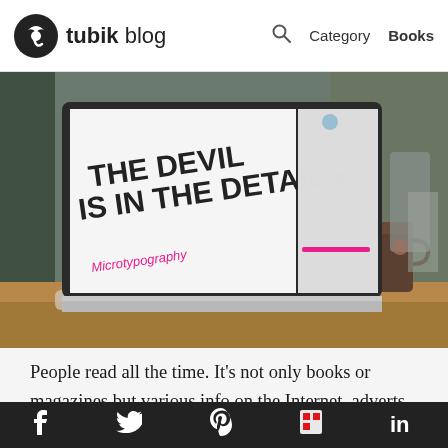tubik blog — Category Books
[Figure (photo): Photo of an iMac computer monitor on a desk displaying a screen that reads 'THE DEVIL IS IN THE DETAILS.' and 'Microtypography' in pink text. A coffee mug and blurred background items are visible on the desk.]
People read all the time. It's not only books or magazines but various info on the Internet, adverts in the streets, in public transport or outside shops. However, only a
f  Twitter  Pinterest  Flipboard  in